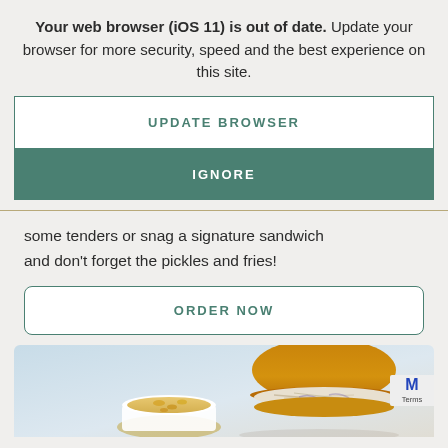Your web browser (iOS 11) is out of date. Update your browser for more security, speed and the best experience on this site.
UPDATE BROWSER
IGNORE
some tenders or snag a signature sandwich and don't forget the pickles and fries!
ORDER NOW
[Figure (photo): Photo of a fried chicken sandwich with coleslaw on a brioche bun, served alongside a bowl of mac and cheese, on a light blue/grey background. Partially cut off at bottom of page.]